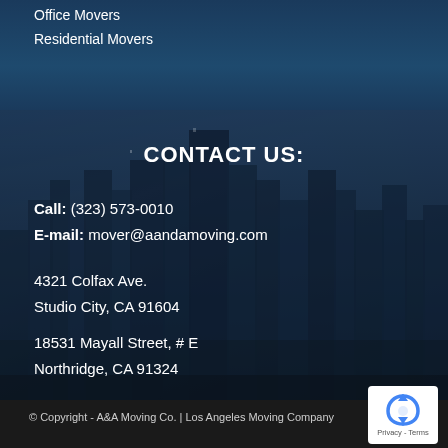Office Movers
Residential Movers
CONTACT US:
Call: (323) 573-0010
E-mail: mover@aandamoving.com
4321 Colfax Ave.
Studio City, CA 91604
18531 Mayall Street, # E
Northridge, CA 91324
[Figure (photo): Aerial city skyline photograph of Los Angeles skyscrapers at dusk, used as background image]
© Copyright - A&A Moving Co. | Los Angeles Moving Company